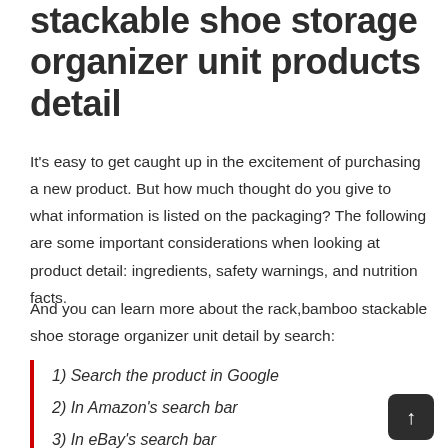stackable shoe storage organizer unit products detail
It's easy to get caught up in the excitement of purchasing a new product. But how much thought do you give to what information is listed on the packaging? The following are some important considerations when looking at product detail: ingredients, safety warnings, and nutrition facts.
And you can learn more about the rack,bamboo stackable shoe storage organizer unit detail by search:
1) Search the product in Google
2) In Amazon's search bar
3) In eBay's search bar
4) In Walmart's search bar